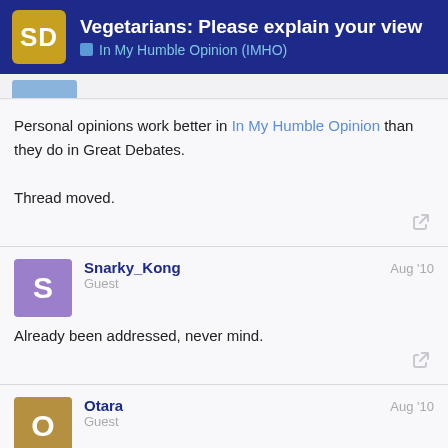Vegetarians: Please explain your view — In My Humble Opinion (IMHO)
Personal opinions work better in In My Humble Opinion than they do in Great Debates.

Thread moved.
Snarky_Kong — Guest — Aug '10
Already been addressed, never mind.
Otara — Guest — Aug '10
I think this is more talking about the differe
17 / 97